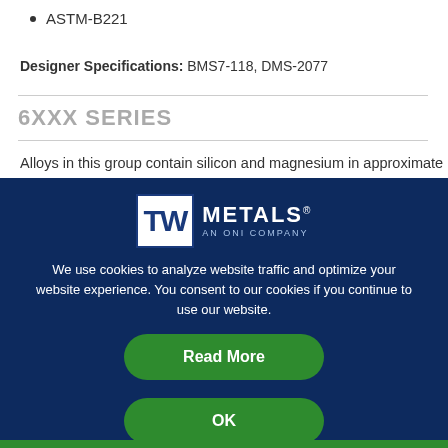ASTM-B221
Designer Specifications: BMS7-118, DMS-2077
6XXX SERIES
Alloys in this group contain silicon and magnesium in approximate
[Figure (logo): TW Metals logo - An ONI Company, white text on dark navy background]
We use cookies to analyze website traffic and optimize your website experience. You consent to our cookies if you continue to use our website.
Read More
OK